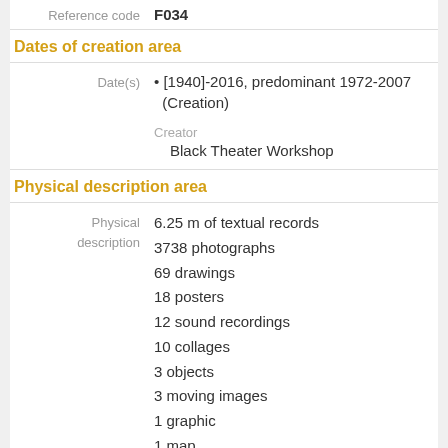| Reference code | F034 |
| --- | --- |
Dates of creation area
| Date(s) | [1940]-2016, predominant 1972-2007 (Creation)
Creator
Black Theater Workshop |
| --- | --- |
Physical description area
| Physical description | 6.25 m of textual records
3738 photographs
69 drawings
18 posters
12 sound recordings
10 collages
3 objects
3 moving images
1 graphic
1 map |
| --- | --- |